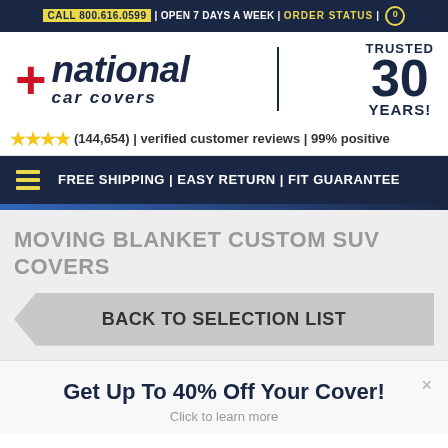CALL 800.616.0599 | OPEN 7 DAYS A WEEK | ORDER STATUS | 0
[Figure (logo): National Car Covers logo with red plus sign and 'TRUSTED 30 YEARS!' badge]
★★★★ (144,654) | verified customer reviews | 99% positive
FREE SHIPPING | EASY RETURN | FIT GUARANTEE
MOVING BLANKET CUSTOM SUV COVERS
BACK TO SELECTION LIST
Get Up To 40% Off Your Cover!
Click to learn more